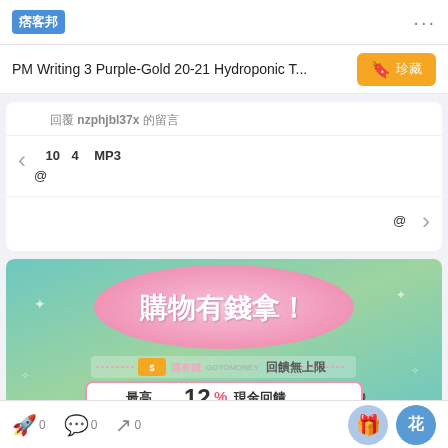痞客邦  ...
PM Writing 3 Purple-Gold 20-21 Hydroponic T...
回覆 nzphjbl37x 的留言
◀ 超人媽麻拿到網路 10 堂課程是指哪4堂為什麼連結裡面包含MP3的 @超人媽麻你好
超人媽麻拿到網路連結可以參考這裡喔@超人媽麻你好 ▶
[Figure (illustration): Advertisement banner with teal/green gradient background. Large pink circle with Chinese text '購物有錢拿！' (Shopping get money!). Below: GoToMoney brand logo with text '回饋無上限' (Unlimited cashback). Pink bordered box with text '最高12%現金回饋' (Up to 12% cash rebate).]
0  0  0  🎁  花